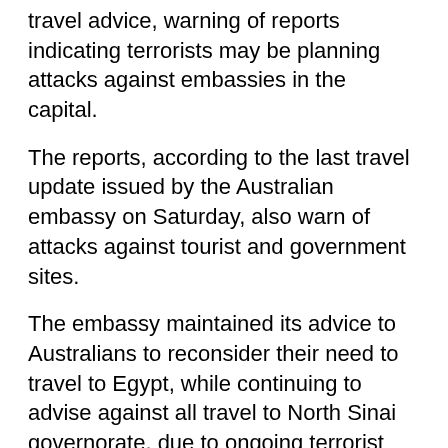travel advice, warning of reports indicating terrorists may be planning attacks against embassies in the capital.
The reports, according to the last travel update issued by the Australian embassy on Saturday, also warn of attacks against tourist and government sites.
The embassy maintained its advice to Australians to reconsider their need to travel to Egypt, while continuing to advise against all travel to North Sinai governorate, due to ongoing terrorist attacks targeting police and army personnel.
The Australian embassy in Cairo, however, is operating normally, an embassy spokesman told Ahram Online.
The American embassy issued a warning to its nationals on Thursday, saying "in light of the heightened tensions and recent attacks on Westerners in the region" embassy staff were advised to stay close to their residences.
According to Secretary...